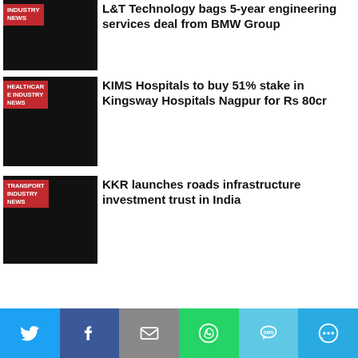INDUSTRY NEWS — L&T Technology bags 5-year engineering services deal from BMW Group
HEALTHCARE INDUSTRY NEWS — KIMS Hospitals to buy 51% stake in Kingsway Hospitals Nagpur for Rs 80cr
TRANSPORT INDUSTRY NEWS — KKR launches roads infrastructure investment trust in India
MINING INDUSTRY NEWS — Tata Steel to build EAF-based steel plant in Ludhiana
[Figure (infographic): Social sharing bar with Twitter, Facebook, Email, WhatsApp, SMS, and More buttons]